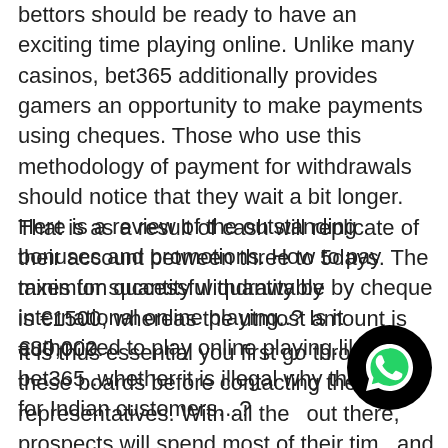bettors should be ready to have an exciting time playing online. Unlike many casinos, bet365 additionally provides gamers an opportunity to make payments using cheques. Those who use this methodology of payment for withdrawals should notice that they wait a bit longer. That is as a result of cash will replicate of their account between three to 5days. The minimum quantity withdrawable by cheque is €1500, whereas the utmost amount is €80,000.
Here is a review of the outstanding bonuses and promotions. How to pay taxes for successful quantity by international online playing..? Is it authorized to play online playing.like bet365..whether it is illegal why they settle for Indian customers…?
It is thus essential you first go through these boards before contacting the help representatives. With all these out there, prospects will spend most of their time and less time solving account issues. Even though doesn't have separate casino bonuses for the Nigerian